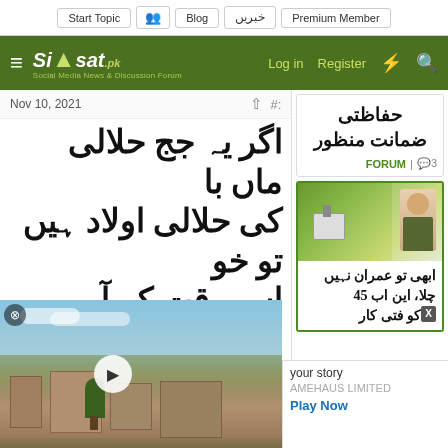Siasat.pk — Social Media News & Discussion Forum. Navigation: Start Topic, Blog, خبریں, Premium Member, Log in, Register
Nov 10, 2021
اگر یہ جج حلالی ماں باپ کی حلالی اولاد ہیں تو خود اس وقت کے آرمی چیف اور وزیر اعظم اور ڈی جی آئی ایس آئی کے خلاف
[Figure (screenshot): Video thumbnail showing aerial view of residential buildings/neighborhood with blue sky, with a play button overlay]
your story
AMEHAUS LIMITED
Play Now
حفاظتی ضمانت منظور
3 | FORUM
[Figure (photo): Photo showing two people in green clothing, appears to be a political context]
ابھی تو عمران نہیں چلا، این اب 45 کو فتی کار